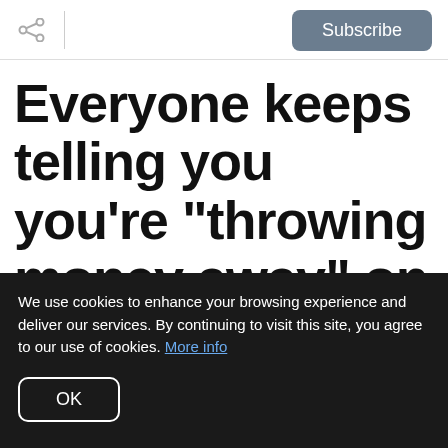Subscribe
Everyone keeps telling you you're “throwing money away” on rent.
We use cookies to enhance your browsing experience and deliver our services. By continuing to visit this site, you agree to our use of cookies. More info
OK